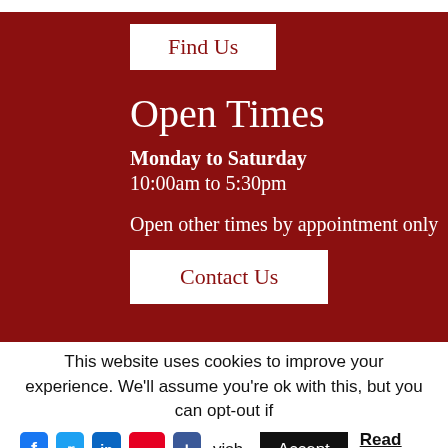Find Us
Open Times
Monday to Saturday
10:00am to 5:30pm
Open other times by appointment only
Contact Us
This website uses cookies to improve your experience. We'll assume you're ok with this, but you can opt-out if you wish.
Accept
Read More